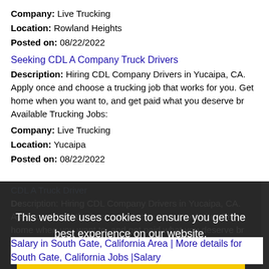Company: Live Trucking
Location: Rowland Heights
Posted on: 08/22/2022
Seeking CDL A Company Truck Drivers
Description: Hiring CDL Company Drivers in Yucaipa, CA. Apply once and choose a trucking job that works for you. Get home when you want to, and get paid what you deserve br Available Trucking Jobs:
Company: Live Trucking
Location: Yucaipa
Posted on: 08/22/2022
CDL A Truck Driver
Description: ... CA. Apply once and the best experience on our website. Get home when you want to, and get paid what you deserve br Available Trucking Jobs:
Company: Live Trucking
Location: Yucaipa
Posted on: 08/22/2022
This website uses cookies to ensure you get the best experience on our website.
Learn more
Got it!
Salary in South Gate, California Area | More details for South Gate, California Jobs |Salary